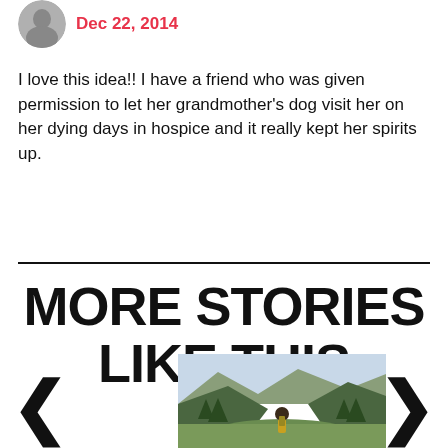[Figure (photo): Partial avatar/profile photo of a person, cropped circle at top left]
Dec 22, 2014
I love this idea!! I have a friend who was given permission to let her grandmother's dog visit her on her dying days in hospice and it really kept her spirits up.
MORE STORIES LIKE THIS
[Figure (photo): A person with a backpack hiking in a mountain valley with green trees and hills in the background. Navigation arrows (< and >) on either side.]